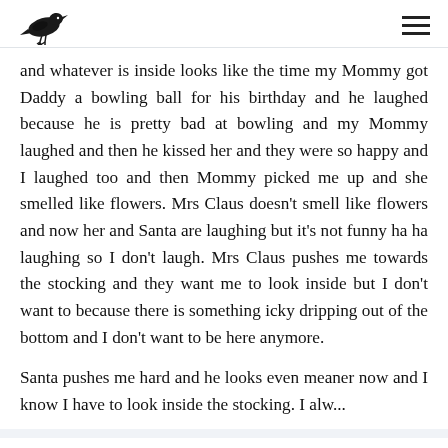[crow logo] [hamburger menu]
and whatever is inside looks like the time my Mommy got Daddy a bowling ball for his birthday and he laughed because he is pretty bad at bowling and my Mommy laughed and then he kissed her and they were so happy and I laughed too and then Mommy picked me up and she smelled like flowers. Mrs Claus doesn't smell like flowers and now her and Santa are laughing but it's not funny ha ha laughing so I don't laugh. Mrs Claus pushes me towards the stocking and they want me to look inside but I don't want to because there is something icky dripping out of the bottom and I don't want to be here anymore.
Santa pushes me hard and he looks even meaner now and I know I have to look inside the stocking. I always Daddy's voice and I...